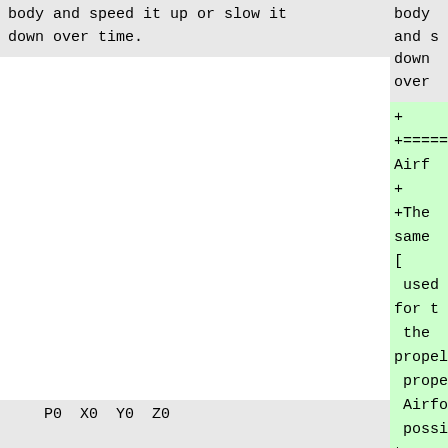body and speed it up or slow it down over time.
body and s
down over
+
+===== Airf
+
+The same [
used for t
the propel
properties
AirfoilPro
possible t
torque and
the propel
propeller
for a lift
''0.5''.
+
+
+====== Geom
P0  X0  Y0  Z0
P0  Y